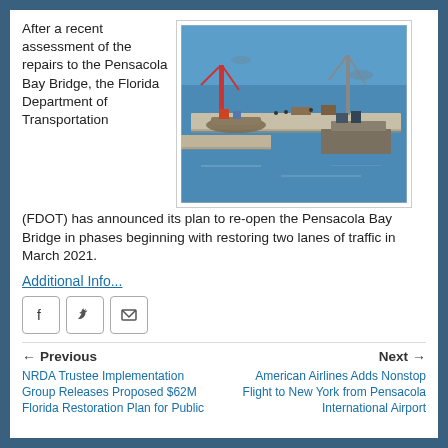After a recent assessment of the repairs to the Pensacola Bay Bridge, the Florida Department of Transportation (FDOT) has announced its plan to re-open the Pensacola Bay Bridge in phases beginning with restoring two lanes of traffic in March 2021.
[Figure (photo): Aerial photograph of bridge repair construction over Pensacola Bay, showing construction cranes, barges, and workers on the bridge deck over blue water.]
Additional Info...
[Figure (other): Social media sharing icons: Facebook, Twitter, Email]
Previous: NRDA Trustee Implementation Group Releases Proposed $62M Florida Restoration Plan for Public
Next: American Airlines Adds Nonstop Flight to New York from Pensacola International Airport